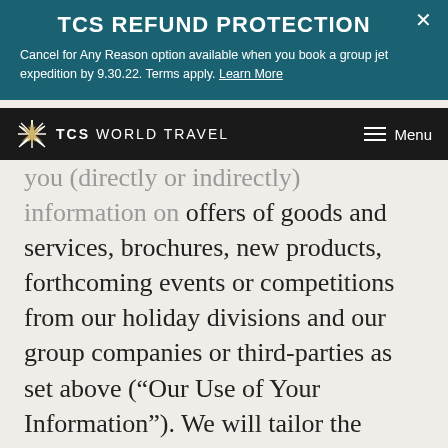TCS REFUND PROTECTION
Cancel for Any Reason option available when you book a group jet expedition by 9.30.22. Terms apply. Learn More
TCS WORLD TRAVEL  Menu
you (directly or indirectly) information on offers of goods and services, brochures, new products, forthcoming events or competitions from our holiday divisions and our group companies or third-parties as set above (“Our Use of Your Information”). We will tailor the information you receive or see; this will enable us to make available to you more personalized and relevant communications.  We may use innovative technologies and work with our third-party business partners to achieve this.